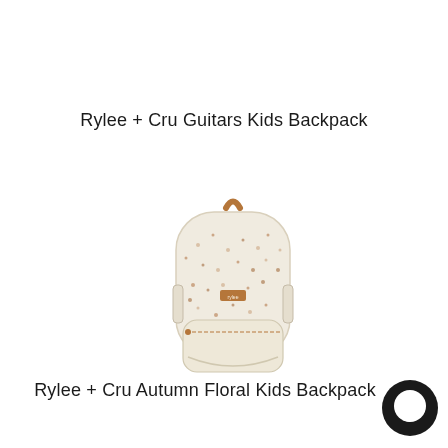Rylee + Cru Guitars Kids Backpack
[Figure (photo): A small kids backpack with a floral/guitars pattern on cream/white fabric, brown leather handle on top and brown leather zipper pulls, with a front pocket and side pockets.]
Rylee + Cru Autumn Floral Kids Backpack